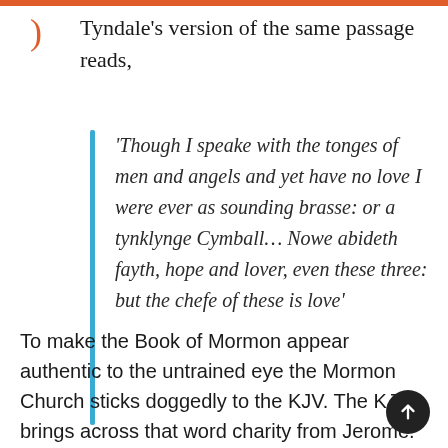Tyndale's version of the same passage reads,
'Though I speake with the tonges of men and angels and yet have no love I were ever as sounding brasse: or a tynklynge Cymball... Nowe abideth fayth, hope and lover, even these three: but the chefe of these is love'
To make the Book of Mormon appear authentic to the untrained eye the Mormon Church sticks doggedly to the KJV. The KJV brings across that word charity from Jerome. This